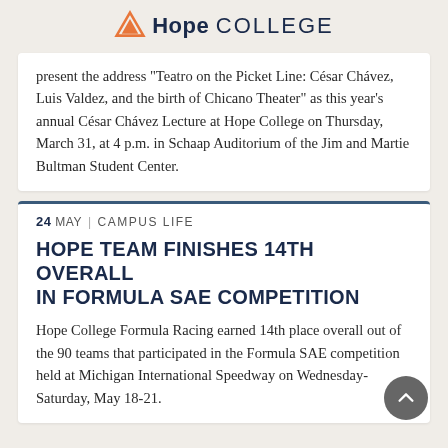Hope College
present the address "Teatro on the Picket Line: César Chávez, Luis Valdez, and the birth of Chicano Theater" as this year's annual César Chávez Lecture at Hope College on Thursday, March 31, at 4 p.m. in Schaap Auditorium of the Jim and Martie Bultman Student Center.
24 MAY | CAMPUS LIFE
HOPE TEAM FINISHES 14TH OVERALL IN FORMULA SAE COMPETITION
Hope College Formula Racing earned 14th place overall out of the 90 teams that participated in the Formula SAE competition held at Michigan International Speedway on Wednesday-Saturday, May 18-21.